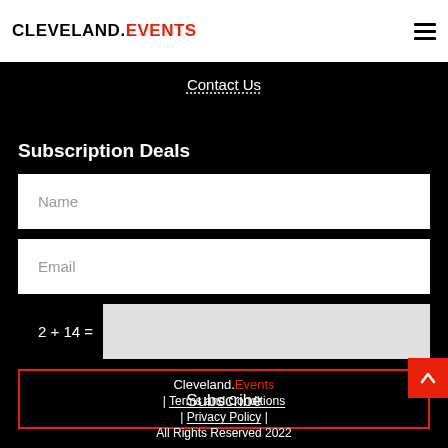CLEVELAND.EVENTS
Contact Us
Subscription Deals
Name
Email
2 + 14 =
Subscribe
Cleveland.Events | Terms and Conditions | Privacy Policy | All Rights Reserved 2022